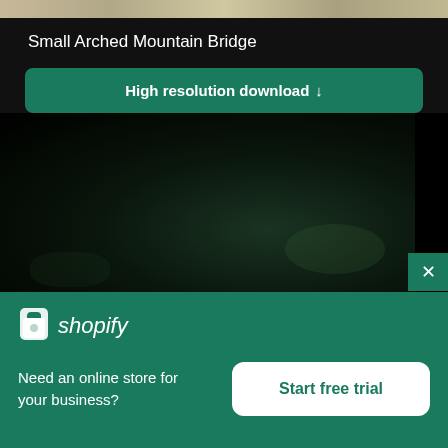[Figure (photo): Partial top edge of a photo showing a mountain bridge scene with muted tan/brown tones]
Small Arched Mountain Bridge
High resolution download ↓
[Figure (photo): Blurred dark photograph showing dark foliage and greenery, very low key lighting]
Need an online store for your business?
Start free trial